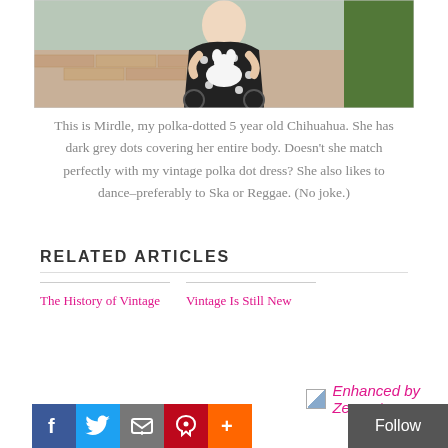[Figure (photo): A woman in a black and white polka dot dress sitting in a wheelchair, holding a small white and grey Chihuahua dog. Background shows brick pavement and green hedge.]
This is Mirdle, my polka-dotted 5 year old Chihuahua. She has dark grey dots covering her entire body. Doesn’t she match perfectly with my vintage polka dot dress? She also likes to dance–preferably to Ska or Reggae. (No joke.)
RELATED ARTICLES
The History of Vintage
Vintage Is Still New
Enhanced by Zemanta